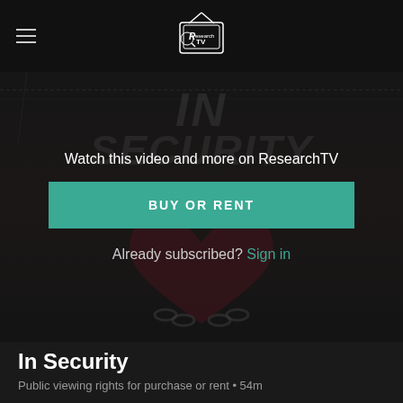ResearchTV
[Figure (screenshot): Video thumbnail for 'In Security' with dark overlay showing graffiti-style text in background and a chained cartoon heart illustration. Overlay shows call-to-action.]
Watch this video and more on ResearchTV
BUY OR RENT
Already subscribed? Sign in
In Security
Public viewing rights for purchase or rent • 54m